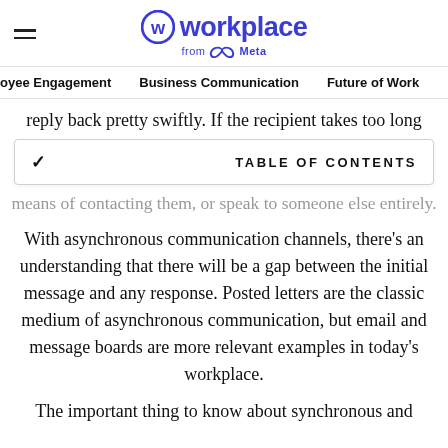Workplace from Meta
oyee Engagement   Business Communication   Future of Work
reply back pretty swiftly. If the recipient takes too long
TABLE OF CONTENTS
means of contacting them, or speak to someone else entirely.
With asynchronous communication channels, there's an understanding that there will be a gap between the initial message and any response. Posted letters are the classic medium of asynchronous communication, but email and message boards are more relevant examples in today's workplace.
The important thing to know about synchronous and